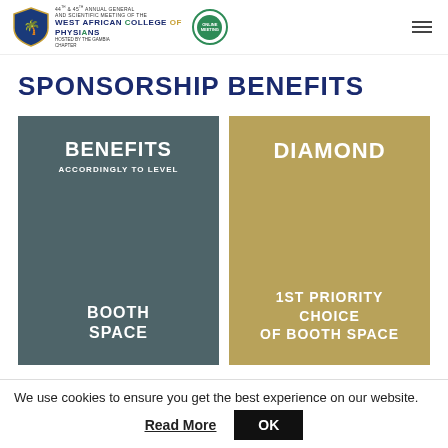44th & 45th Annual General and Scientific Meeting of the West African College of Physicians — Online Meeting — Hosted by the Gambia Chapter
SPONSORSHIP BENEFITS
[Figure (infographic): Two colored tiles side by side. Left tile is dark grey with text: BENEFITS / ACCORDINGLY TO LEVEL (top) and BOOTH SPACE (bottom). Right tile is gold/tan with text: DIAMOND (top) and 1ST PRIORITY CHOICE OF BOOTH SPACE (bottom).]
We use cookies to ensure you get the best experience on our website.
Read More
OK